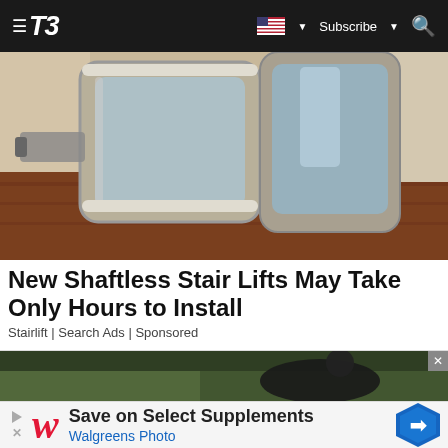≡ T3  [US flag] ▼  Subscribe ▼  🔍
[Figure (photo): Close-up photo of a stairlift chair on stairs, showing the seat frame with metallic/beige accents and glass/chrome components]
New Shaftless Stair Lifts May Take Only Hours to Install
Stairlift | Search Ads | Sponsored
[Figure (photo): Partial photo showing a person wearing dark clothing on grass]
[Figure (infographic): Walgreens advertisement banner: Save on Select Supplements / Walgreens Photo, with Walgreens red W logo and blue directional arrow icon]